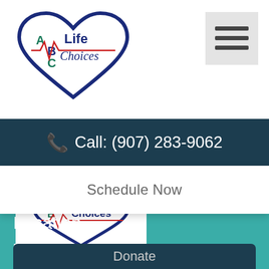[Figure (logo): ABC Life Choices logo with heart outline and heartbeat line]
[Figure (illustration): Hamburger menu icon (three horizontal bars)]
Call: (907) 283-9062
Schedule Now
[Figure (logo): ABC Life Choices logo partial view on teal background]
Location
501 Frontage Road
Kenai, AK 99611
Donate